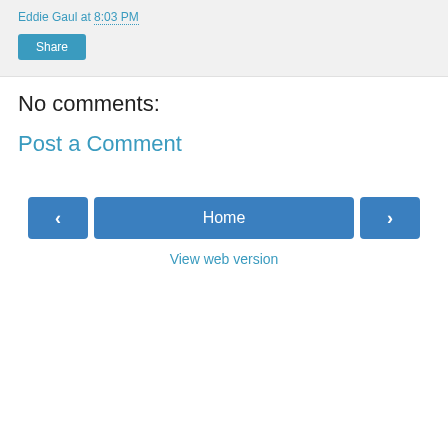Eddie Gaul at 8:03 PM
Share
No comments:
Post a Comment
‹
Home
›
View web version